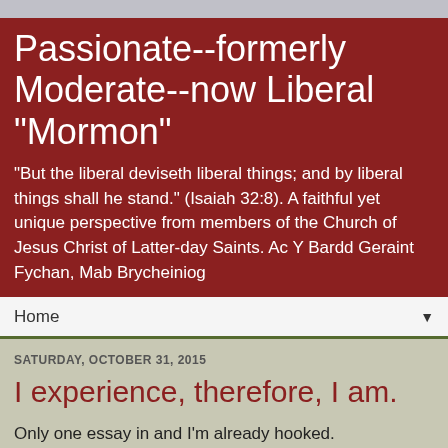Passionate--formerly Moderate--now Liberal "Mormon"
"But the liberal deviseth liberal things; and by liberal things shall he stand." (Isaiah 32:8). A faithful yet unique perspective from members of the Church of Jesus Christ of Latter-day Saints. Ac Y Bardd Geraint Fychan, Mab Brycheiniog
Home
SATURDAY, OCTOBER 31, 2015
I experience, therefore, I am.
Only one essay in and I'm already hooked.